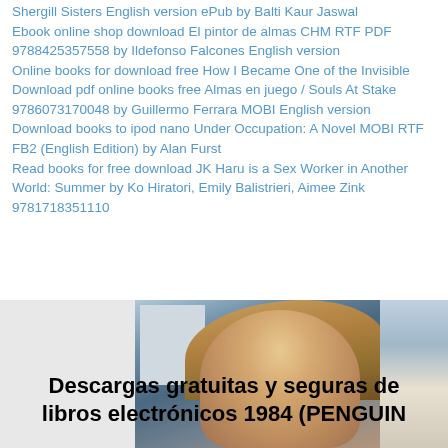Shergill Sisters English version ePub by Balti Kaur Jaswal
Ebook online shop download El pintor de almas CHM RTF PDF 9788425357558 by Ildefonso Falcones English version
Online books for download free How I Became One of the Invisible
Download pdf online books free Almas en juego / Souls At Stake 9786073170048 by Guillermo Ferrara MOBI English version
Download books to ipod nano Under Occupation: A Novel MOBI RTF FB2 (English Edition) by Alan Furst
Read books for free download JK Haru is a Sex Worker in Another World: Summer by Ko Hiratori, Emily Balistrieri, Aimee Zink 9781718351110
[Figure (photo): Photo of a young woman with long blonde hair standing outdoors near a bus or vehicle, overlaid with bold black text about free and safe ebook downloads.]
Descargas gratuitas y seguras de libros electrónicos 1984 (PENGUIN